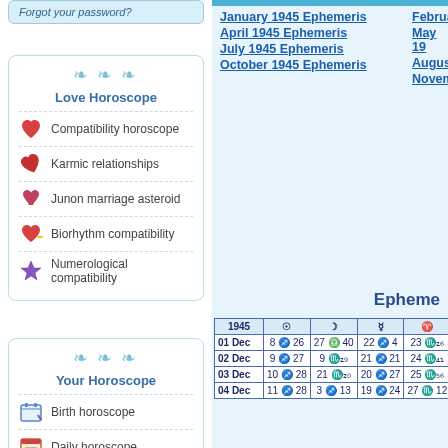Forgot your password?
Love Horoscope
Compatibility horoscope
Karmic relationships
Junon marriage asteroid
Biorhythm compatibility
Numerological compatibility
Your Horoscope
Birth horoscope
Daily horoscope
Rising sign
January 1945 Ephemeris
February
April 1945 Ephemeris
May 19
July 1945 Ephemeris
August
October 1945 Ephemeris
November
Epheme...
| 1945 | ☉ | ☽ | ♀ | ♀ | ○ |
| --- | --- | --- | --- | --- | --- |
| 01 Dec | 8 ♐ 26 | 27 ♎ 40 | 22 ♐ 4 | 23 ♏₂6 | 3 S₂ |
| 02 Dec | 9 ♐ 27 | 9 ♏₂9 | 21 ♐ 21 | 24 ♏₄1 | 3 S₂ |
| 03 Dec | 10 ♐ 28 | 21 ♏₂0 | 20 ♐ 27 | 25 ♏₅6 | 3 S₂ |
| 04 Dec | 11 ♐ 28 | 3 ♐ 13 | 19 ♐ 24 | 27 ♏ 12 | 3 ○ |